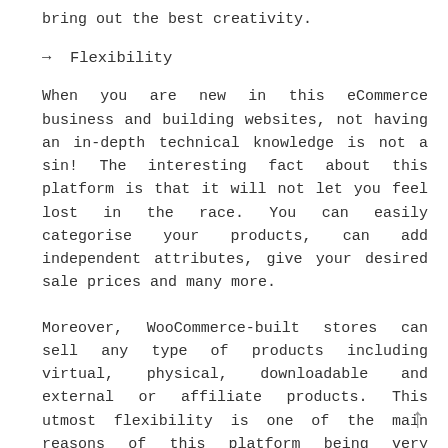bring out the best creativity.
→  Flexibility
When you are new in this eCommerce business and building websites, not having an in-depth technical knowledge is not a sin! The interesting fact about this platform is that it will not let you feel lost in the race. You can easily categorise your products, can add independent attributes, give your desired sale prices and many more.
Moreover, WooCommerce-built stores can sell any type of products including virtual, physical, downloadable and external or affiliate products. This utmost flexibility is one of the main reasons of this platform being very popular with the startups.